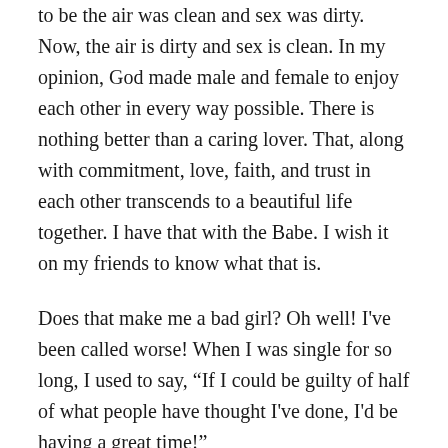to be the air was clean and sex was dirty. Now, the air is dirty and sex is clean. In my opinion, God made male and female to enjoy each other in every way possible. There is nothing better than a caring lover. That, along with commitment, love, faith, and trust in each other transcends to a beautiful life together. I have that with the Babe. I wish it on my friends to know what that is.
Does that make me a bad girl? Oh well! I've been called worse! When I was single for so long, I used to say, “If I could be guilty of half of what people have thought I've done, I'd be having a great time!”
Have a great time today! Be good to yourself and to each other. Show respect and kindness everywhere you go. You'll receive it back tenfold. Do it out of goodness, not to feel better or get credit. In the grand scheme,